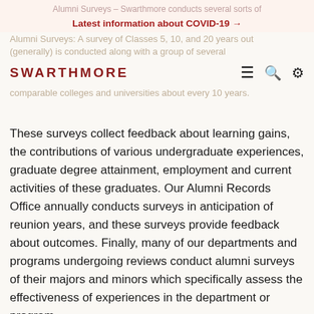Latest information about COVID-19 →
SWARTHMORE
These surveys collect feedback about learning gains, the contributions of various undergraduate experiences, graduate degree attainment, employment and current activities of these graduates. Our Alumni Records Office annually conducts surveys in anticipation of reunion years, and these surveys provide feedback about outcomes. Finally, many of our departments and programs undergoing reviews conduct alumni surveys of their majors and minors which specifically assess the effectiveness of experiences in the department or program.
Enrolled Student Survey — Swarthmore conducts an institution-wide survey of all enrolled students every four